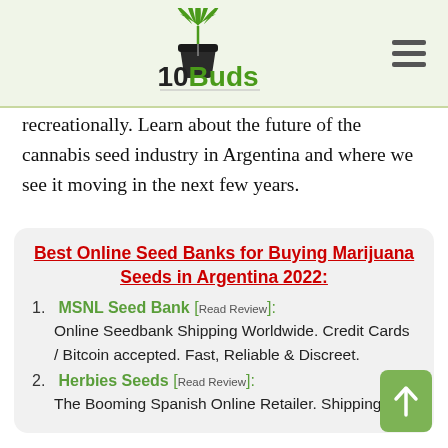10Buds
recreationally. Learn about the future of the cannabis seed industry in Argentina and where we see it moving in the next few years.
Best Online Seed Banks for Buying Marijuana Seeds in Argentina 2022:
1. MSNL Seed Bank [Read Review]: Online Seedbank Shipping Worldwide. Credit Cards / Bitcoin accepted. Fast, Reliable & Discreet.
2. Herbies Seeds [Read Review]: The Booming Spanish Online Retailer. Shipping